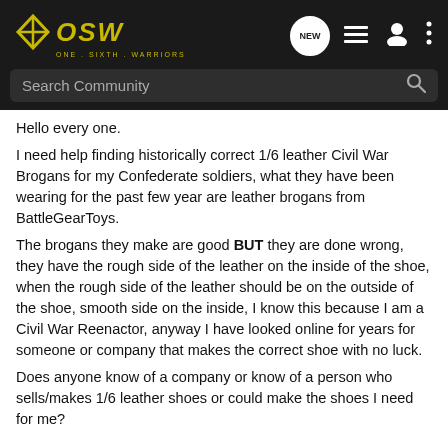OSW ONE.SIXTH.WARRIORS — Search Community
Hello every one.
I need help finding historically correct 1/6 leather Civil War Brogans for my Confederate soldiers, what they have been wearing for the past few year are leather brogans from BattleGearToys.
The brogans they make are good BUT they are done wrong, they have the rough side of the leather on the inside of the shoe, when the rough side of the leather should be on the outside of the shoe, smooth side on the inside, I know this because I am a Civil War Reenactor, anyway I have looked online for years for someone or company that makes the correct shoe with no luck.
Does anyone know of a company or know of a person who sells/makes 1/6 leather shoes or could make the shoes I need for me?